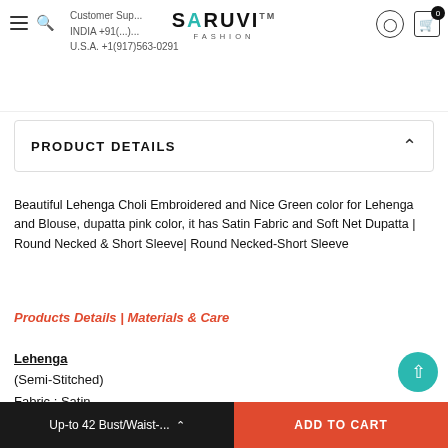SARUVI FASHION — Customer Support INDIA +91(...)... U.S.A. +1(917)563-0291
PRODUCT DETAILS
Beautiful Lehenga Choli Embroidered and Nice Green color for Lehenga and Blouse, dupatta pink color, it has Satin Fabric and Soft Net Dupatta | Round Necked & Short Sleeve| Round Necked-Short Sleeve
Products Details | Materials & Care
Lehenga (Semi-Stitched) Fabric : Satin
Up-to 42 Bust/Waist-...
ADD TO CART